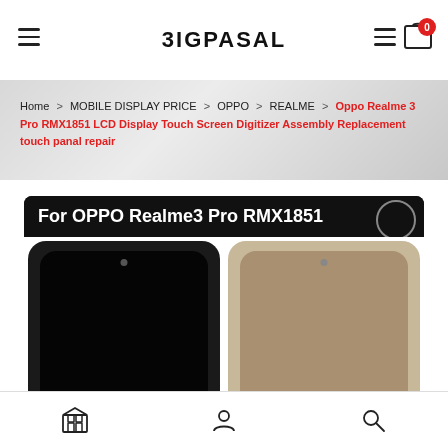BIGPASAL
Home > MOBILE DISPLAY PRICE > OPPO > REALME > Oppo Realme 3 Pro RMX1851 LCD Display Touch Screen Digitizer Assembly Replacement touch panal repair
[Figure (photo): Product image for OPPO Realme3 Pro RMX1851 LCD display showing two screens - one black and one tan/grey color variant, with text 'For OPPO Realme3 Pro RMX1851' on dark header]
Store | Account | Search